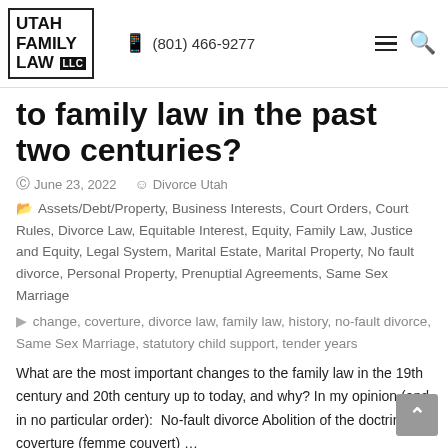Utah Family Law LLC | (801) 466-9277
to family law in the past two centuries?
June 23, 2022  Divorce Utah
Assets/Debt/Property, Business Interests, Court Orders, Court Rules, Divorce Law, Equitable Interest, Equity, Family Law, Justice and Equity, Legal System, Marital Estate, Marital Property, No fault divorce, Personal Property, Prenuptial Agreements, Same Sex Marriage
change, coverture, divorce law, family law, history, no-fault divorce, Same Sex Marriage, statutory child support, tender years
What are the most important changes to the family law in the 19th century and 20th century up to today, and why? In my opinion (and in no particular order):  No-fault divorce Abolition of the doctrine of coverture (femme couvert)…